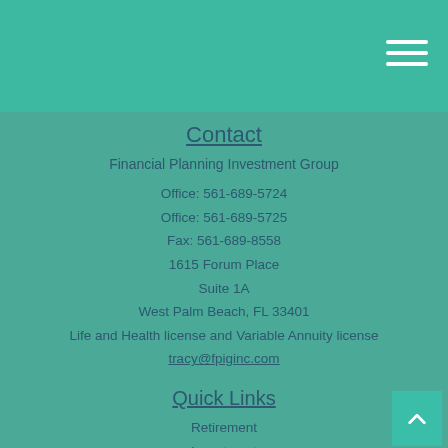Contact
Financial Planning Investment Group
Office: 561-689-5724
Office: 561-689-5725
Fax: 561-689-8558
1615 Forum Place
Suite 1A
West Palm Beach, FL 33401
Life and Health license and Variable Annuity license
tracy@fpiginc.com
Quick Links
Retirement
Investment
Estate
Insurance
Tax
Money
Lifestyle